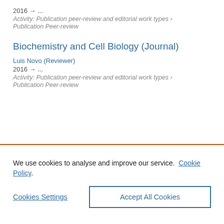2016 → ...
Activity: Publication peer-review and editorial work types › Publication Peer-review
Biochemistry and Cell Biology (Journal)
Luis Novo (Reviewer)
2016 → ...
Activity: Publication peer-review and editorial work types › Publication Peer-review
We use cookies to analyse and improve our service. Cookie Policy
Cookies Settings
Accept All Cookies